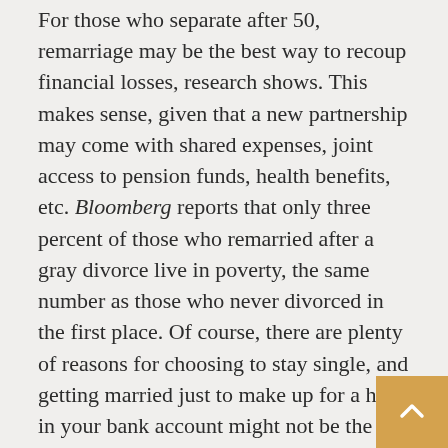For those who separate after 50, remarriage may be the best way to recoup financial losses, research shows. This makes sense, given that a new partnership may come with shared expenses, joint access to pension funds, health benefits, etc. Bloomberg reports that only three percent of those who remarried after a gray divorce live in poverty, the same number as those who never divorced in the first place. Of course, there are plenty of reasons for choosing to stay single, and getting married just to make up for a hit in your bank account might not be the most appealing notion.
Many people decide not to remarry in the years following a gray divorce. In a report published in the journal Demography, Brown and his team found that only 22% of women and 37% of men married a new partner within 10 years of their separation from over-50s.